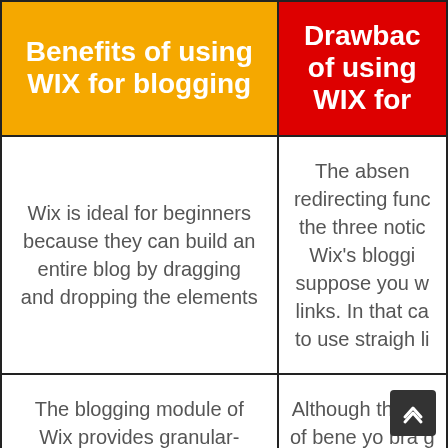Benefits of using WIX for blogging
Drawbacks of using WIX for blogging
Wix is ideal for beginners because they can build an entire blog by dragging and dropping the elements
The absence of redirecting functionality is the three noticeable of Wix's blogging. suppose you want to change links. In that case, you'd have to use straight permalink links.
The blogging module of Wix provides granular-level control over the SEO of a blog
Although the free plan comes with a lot of benefits, you can't remove Wix branding